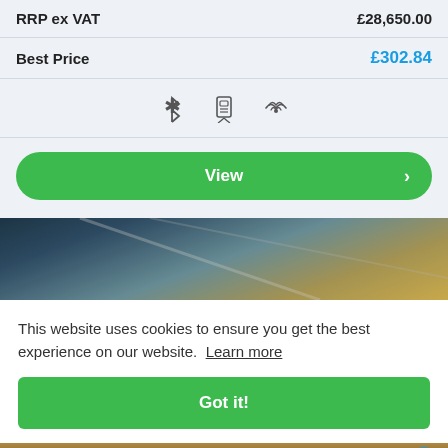| RRP ex VAT | £28,650.00 |
| Best Price | £302.84 |
[Figure (infographic): Three icons: Bluetooth symbol, connected devices/SIM card icon, and wireless signal/connectivity icon]
View
[Figure (photo): Interior of a warehouse or industrial building showing ceiling beams and lighting strips]
This website uses cookies to ensure you get the best experience on our website. Learn more
Got it!
[Figure (photo): Partial view of what appears to be an animal or outdoor scene at the bottom of the page]